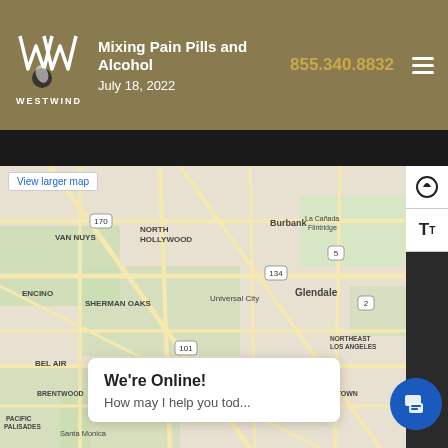Westwind — Mixing Pain Pills and Alcohol — July 18, 2022 — 855.340.8832
[Figure (map): Google Maps view of Los Angeles area showing Westwind Recovery Outpatient location pin near Beverly Hills/West Hollywood area. Map shows surrounding neighborhoods: Van Nuys, North Hollywood, Burbank, Glendale, Encino, Sherman Oaks, Universal City, Bel Air, Beverly Hills, Brentwood, Pacific Palisades, Santa Monica, Westwood, Los Feliz, Northeast Los Angeles, Chinatown. Red pin labeled 'Westwind Recovery Outpatient'.]
View larger map
We're Online!
How may I help you tod...